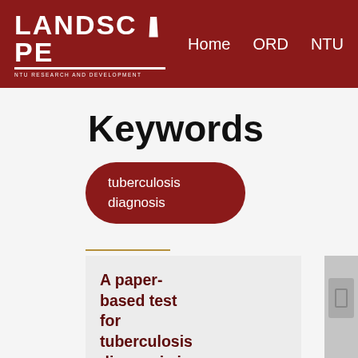LANDSCAPE | NTU RESEARCH AND DEVELOPMENT | Home | ORD | NTU
Keywords
tuberculosis
diagnosis
A paper-based test for tuberculosis diagnosis in developing